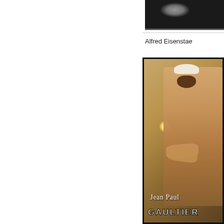[Figure (photo): Partial dark image visible at top right corner, appears to be a photograph with a dark background and some light splatter or texture]
Alfred Eisenstae
[Figure (photo): Fashion advertisement photo showing a shirtless muscular male model wearing a white sailor cap with arms crossed, warm golden/beige background with a wall sconce light visible. Text at bottom reads 'Jean Paul GAULTIER']